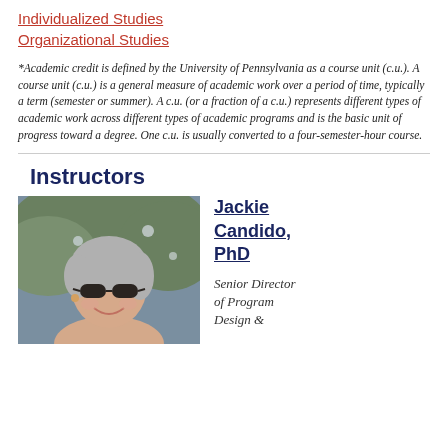Individualized Studies
Organizational Studies
*Academic credit is defined by the University of Pennsylvania as a course unit (c.u.). A course unit (c.u.) is a general measure of academic work over a period of time, typically a term (semester or summer). A c.u. (or a fraction of a c.u.) represents different types of academic work across different types of academic programs and is the basic unit of progress toward a degree. One c.u. is usually converted to a four-semester-hour course.
Instructors
[Figure (photo): Headshot photo of Jackie Candido, PhD — a woman with gray hair and dark sunglasses, smiling, outdoors with flowers in the background.]
Jackie Candido, PhD
Senior Director of Program Design &